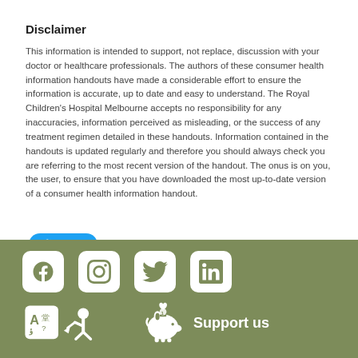Disclaimer
This information is intended to support, not replace, discussion with your doctor or healthcare professionals. The authors of these consumer health information handouts have made a considerable effort to ensure the information is accurate, up to date and easy to understand. The Royal Children's Hospital Melbourne accepts no responsibility for any inaccuracies, information perceived as misleading, or the success of any treatment regimen detailed in these handouts. Information contained in the handouts is updated regularly and therefore you should always check you are referring to the most recent version of the handout. The onus is on you, the user, to ensure that you have downloaded the most up-to-date version of a consumer health information handout.
[Figure (other): Tweet button with Twitter bird icon]
[Figure (other): Footer bar with social media icons (Facebook, Instagram, Twitter, LinkedIn), language/translation icons, and Support us button with piggy bank icon on olive/khaki green background]